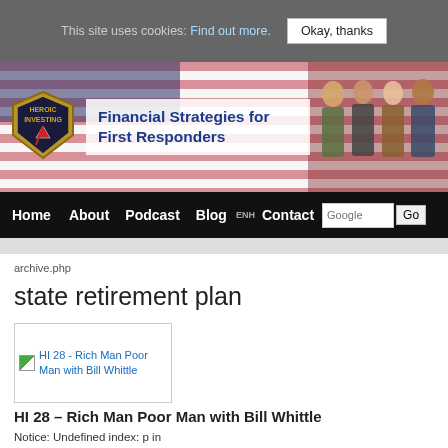This site uses cookies: Find out more. Okay, thanks
[Figure (screenshot): Website header banner for 'Financial Strategies for First Responders' with Heroic Investing shield logo, American flag background, and photos of first responders/military personnel]
Home  About  Podcast  Blog  Contact  [Google search box]  Go
archive.php
state retirement plan
[Figure (screenshot): Thumbnail image for HI 28 - Rich Man Poor Man with Bill Whittle post]
HI 28 – Rich Man Poor Man with Bill Whittle
Notice: Undefined index: p in /chroot/home/a6296541/0153b22640.nxcli.net/html/wp content/plugins/limit-post-add-on/limit-post.php on